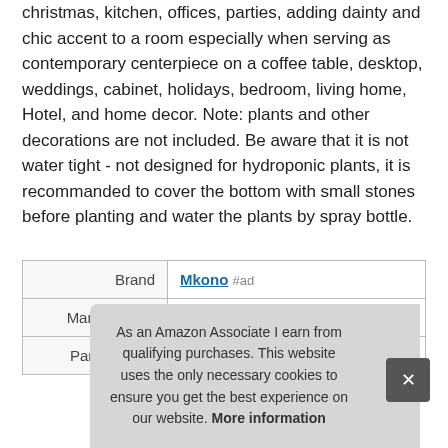christmas, kitchen, offices, parties, adding dainty and chic accent to a room especially when serving as contemporary centerpiece on a coffee table, desktop, weddings, cabinet, holidays, bedroom, living home, Hotel, and home decor. Note: plants and other decorations are not included. Be aware that it is not water tight - not designed for hydroponic plants, it is recommanded to cover the bottom with small stones before planting and water the plants by spray bottle.
|  |  |
| --- | --- |
| Brand | Mkono #ad |
| Manufacturer | Mkono #ad |
| Part Number | YYBLJSG01 |
As an Amazon Associate I earn from qualifying purchases. This website uses the only necessary cookies to ensure you get the best experience on our website. More information